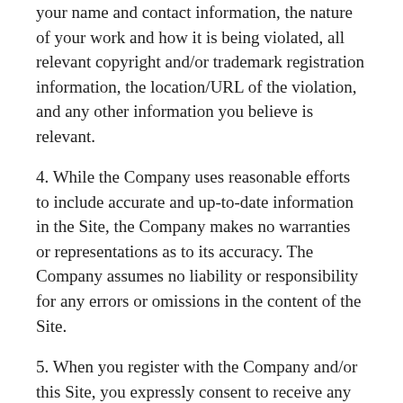your name and contact information, the nature of your work and how it is being violated, all relevant copyright and/or trademark registration information, the location/URL of the violation, and any other information you believe is relevant.
4. While the Company uses reasonable efforts to include accurate and up-to-date information in the Site, the Company makes no warranties or representations as to its accuracy. The Company assumes no liability or responsibility for any errors or omissions in the content of the Site.
5. When you register with the Company and/or this Site, you expressly consent to receive any notices, announcements, agreements, disclosures, reports, documents, communications concerning new products or services, or other